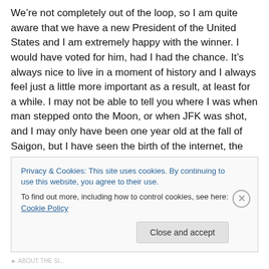We're not completely out of the loop, so I am quite aware that we have a new President of the United States and I am extremely happy with the winner. I would have voted for him, had I had the chance. It's always nice to live in a moment of history and I always feel just a little more important as a result, at least for a while. I may not be able to tell you where I was when man stepped onto the Moon, or when JFK was shot, and I may only have been one year old at the fall of Saigon, but I have seen the birth of the internet, the turn of a millennium, the fall of the Berlin
Privacy & Cookies: This site uses cookies. By continuing to use this website, you agree to their use.
To find out more, including how to control cookies, see here: Cookie Policy